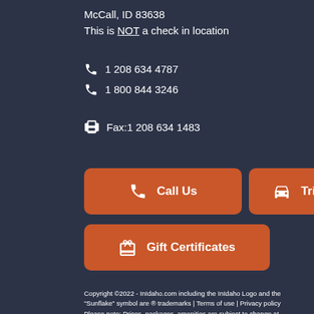McCall, ID 83638
This is NOT a check in location
1 208 634 4787
1 800 844 3246
Fax:1 208 634 1483
Call Us
Trip Insurance
Gift Certificates
Copyright ©2022 - InIdaho.com including the InIdaho Logo and the "Sunflake" symbol are ® trademarks | Terms of use | Privacy policy
Please note:  Prices, packages, amenities are subject to change at any time.  Please call to confirm.